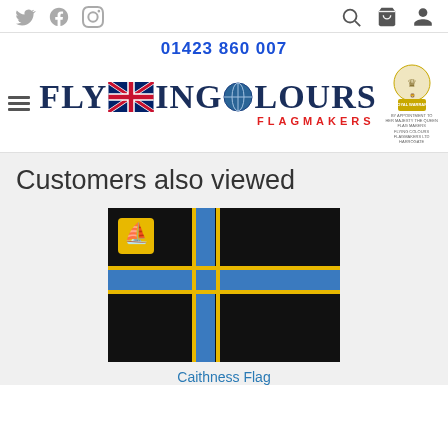Social icons (Twitter, Facebook, Instagram) and nav icons (search, bag, account)
01423 860 007
[Figure (logo): Flying Colours Flagmakers logo with UK flag imagery and Royal Warrant crest]
Customers also viewed
[Figure (photo): Caithness Flag - black background with blue and yellow Nordic cross pattern and ship emblem in top left]
Caithness Flag